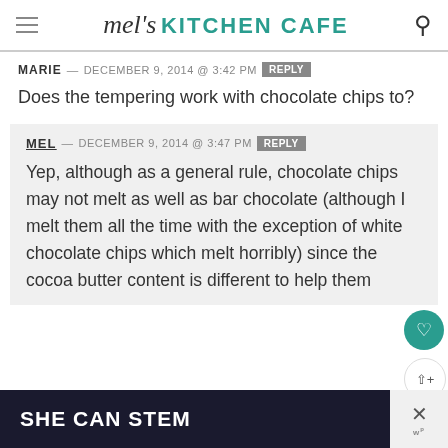mel's KITCHEN CAFE
MARIE — DECEMBER 9, 2014 @ 3:42 PM  REPLY
Does the tempering work with chocolate chips to?
MEL — DECEMBER 9, 2014 @ 3:47 PM  REPLY
Yep, although as a general rule, chocolate chips may not melt as well as bar chocolate (although I melt them all the time with the exception of white chocolate chips which melt horribly) since the cocoa butter content is different to help them
[Figure (screenshot): Ad banner at bottom: black background with text SHE CAN STEM in white bold, and close button on right]